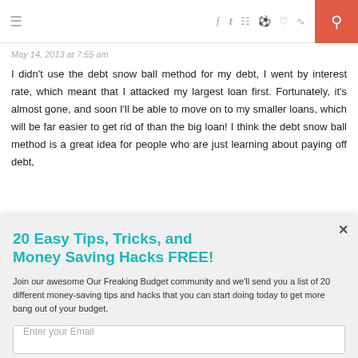≡  f  𝕥  ☷  𝕡  ♥  RSS  🔍
May 14, 2013 at 7:55 am
I didn't use the debt snow ball method for my debt, I went by interest rate, which meant that I attacked my largest loan first. Fortunately, it's almost gone, and soon I'll be able to move on to my smaller loans, which will be far easier to get rid of than the big loan! I think the debt snow ball method is a great idea for people who are just learning about paying off debt,
20 Easy Tips, Tricks, and Money Saving Hacks FREE!
Join our awesome Our Freaking Budget community and we'll send you a list of 20 different money-saving tips and hacks that you can start doing today to get more bang out of your budget.